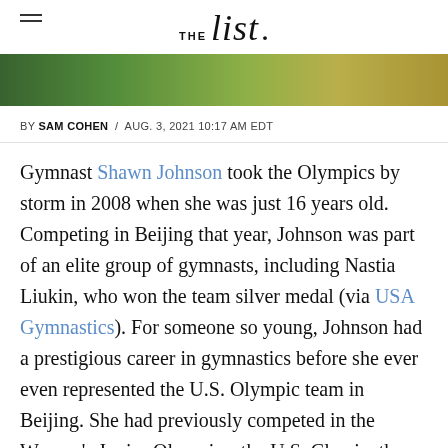THE list.
[Figure (photo): Partial photograph strip showing green and yellow tones, likely a sports or outdoor scene]
BY SAM COHEN / AUG. 3, 2021 10:17 AM EDT
Gymnast Shawn Johnson took the Olympics by storm in 2008 when she was just 16 years old. Competing in Beijing that year, Johnson was part of an elite group of gymnasts, including Nastia Liukin, who won the team silver medal (via USA Gymnastics). For someone so young, Johnson had a prestigious career in gymnastics before she ever even represented the U.S. Olympic team in Beijing. She had previously competed in the Women's Junior Olympics, the U.S. Classic, the World Championships, and the Visa Championships, often claiming first or second place (via USA